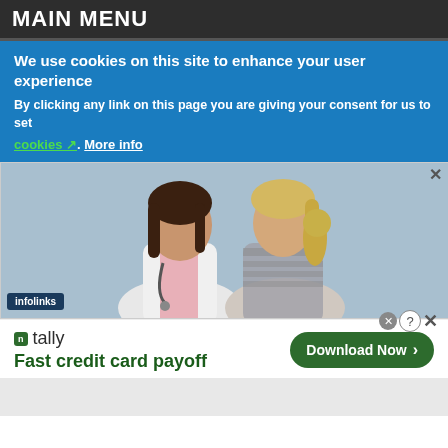MAIN MENU
We use cookies on this site to enhance your user experience
By clicking any link on this page you are giving your consent for us to set cookies. More info
[Figure (photo): A female doctor in a white coat with stethoscope consulting with a blonde female patient, both looking at something together. Blue/grey background. Infolinks label in bottom left.]
[Figure (advertisement): Tally app advertisement: 'Fast credit card payoff' with green 'Download Now' button with arrow. Close/X controls in top right.]